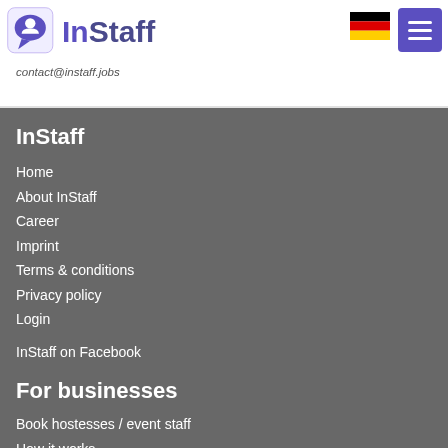InStaff
contact@instaff.jobs
InStaff
Home
About InStaff
Career
Imprint
Terms & conditions
Privacy policy
Login
InStaff on Facebook
For businesses
Book hostesses / event staff
How it works